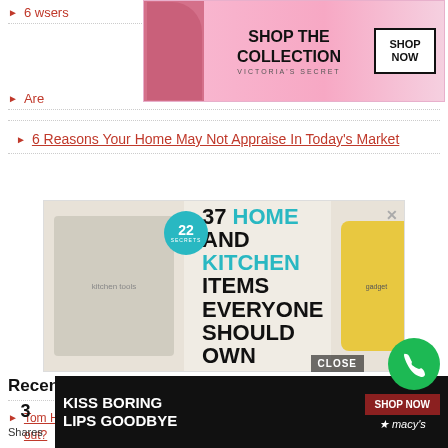6 w... sers
[Figure (advertisement): Victoria's Secret advertisement with woman photo, Shop The Collection text, and Shop Now button]
Are...
6 Reasons Your Home May Not Appraise In Today's Market
[Figure (advertisement): 37 Home and Kitchen Items Everyone Should Own ad with kitchen gadgets and 22 Secrets badge]
Recent Comments
Tom Horn on Why can't the appraiser call me when the value is not working out?
[Figure (advertisement): Macy's Kiss Boring Lips Goodbye advertisement with red lips and Shop Now button]
3 Shares